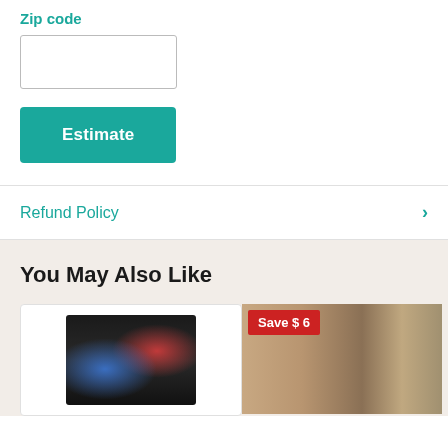Zip code
[Zip code input field]
Estimate
Refund Policy
You May Also Like
[Figure (photo): Product card showing a gaming/pinball machine with dark background and colorful screen]
[Figure (photo): Product card showing a curtain/fabric product with Save $6 badge]